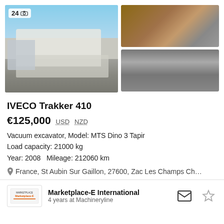[Figure (photo): IVECO Trakker 410 vacuum excavator truck, white, parked outdoors. Badge shows '24' with camera icon.]
[Figure (photo): Close-up of rusty/worn metal detail of the machine.]
[Figure (photo): Close-up of reflective metallic surface detail of the machine.]
IVECO Trakker 410
€125,000  USD  NZD
Vacuum excavator, Model: MTS Dino 3 Tapir
Load capacity: 21000 kg
Year: 2008   Mileage: 212060 km
France, St Aubin Sur Gaillon, 27600, Zac Les Champs Ch…
Marketplace-E International
4 years at Machineryline